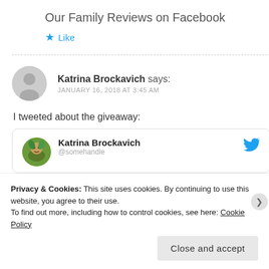Our Family Reviews on Facebook
★ Like
Katrina Brockavich says: JANUARY 16, 2018 AT 3:45 AM
I tweeted about the giveaway:
[Figure (screenshot): Tweet card showing Katrina Brockavich's Twitter post with Twitter bird icon]
Privacy & Cookies: This site uses cookies. By continuing to use this website, you agree to their use. To find out more, including how to control cookies, see here: Cookie Policy
Close and accept